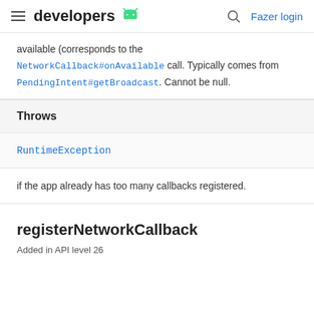developers
available (corresponds to the NetworkCallback#onAvailable call. Typically comes from PendingIntent#getBroadcast. Cannot be null.
| Throws |
| --- |
| RuntimeException |
if the app already has too many callbacks registered.
registerNetworkCallback
Added in API level 26